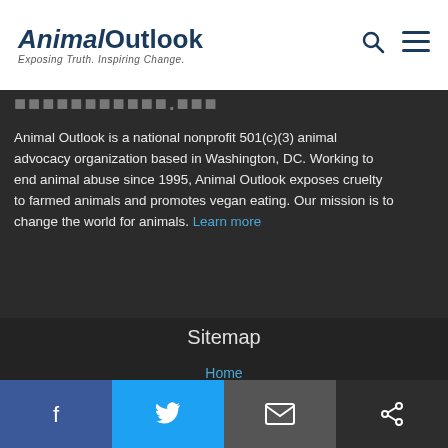Animal Outlook — Exposing Truth Inspiring Change.
Animal Outlook is a national nonprofit 501(c)(3) animal advocacy organization based in Washington, DC. Working to end animal abuse since 1995, Animal Outlook exposes cruelty to farmed animals and promotes vegan eating. Our mission is to change the world for animals. Learn more
Sitemap
Home
Facebook | Twitter | Email | Share